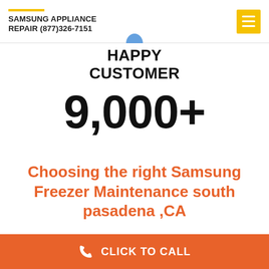SAMSUNG APPLIANCE REPAIR (877)326-7151
HAPPY CUSTOMER
9,000+
Choosing the right Samsung Freezer Maintenance south pasadena ,CA
CLICK TO CALL